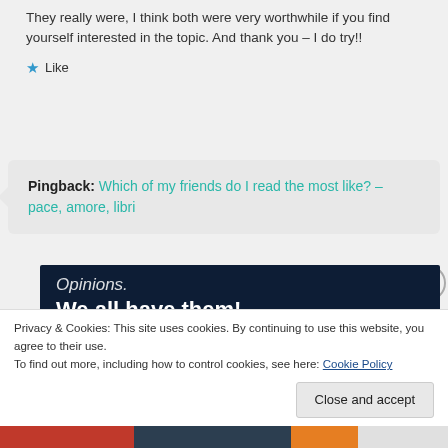They really were, I think both were very worthwhile if you find yourself interested in the topic. And thank you – I do try!!
★ Like
Pingback: Which of my friends do I read the most like? – pace, amore, libri
[Figure (screenshot): Dark navy ad banner with white text reading 'Opinions. We all have them!' and a pink 'Start a survey' button, with a round white logo for CrowdSignal in the bottom right.]
Privacy & Cookies: This site uses cookies. By continuing to use this website, you agree to their use.
To find out more, including how to control cookies, see here: Cookie Policy
Close and accept